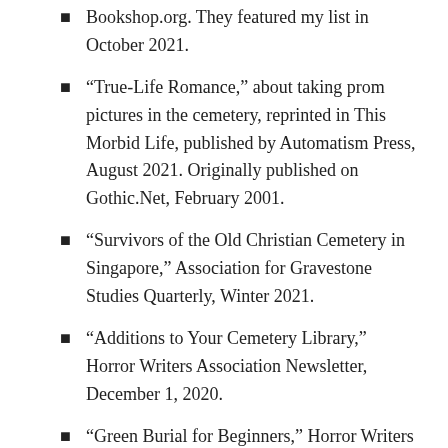Bookshop.org. They featured my list in October 2021.
“True-Life Romance,” about taking prom pictures in the cemetery, reprinted in This Morbid Life, published by Automatism Press, August 2021. Originally published on Gothic.Net, February 2001.
“Survivors of the Old Christian Cemetery in Singapore,” Association for Gravestone Studies Quarterly, Winter 2021.
“Additions to Your Cemetery Library,” Horror Writers Association Newsletter, December 1, 2020.
“Green Burial for Beginners,” Horror Writers Association Newsletter, November 1, 2020.
“Celebrating my Birthday in Cemeteries,” Readers Entertainment,